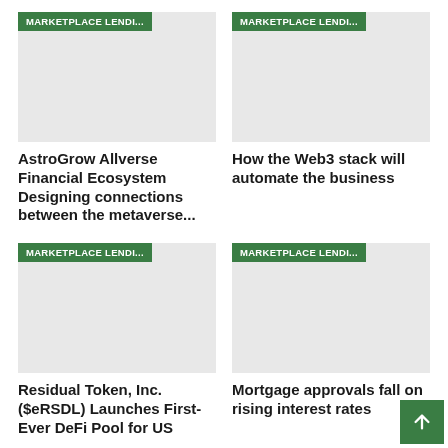[Figure (other): Article thumbnail with green MARKETPLACE LENDI... badge, gray image placeholder]
AstroGrow Allverse Financial Ecosystem Designing connections between the metaverse...
[Figure (other): Article thumbnail with green MARKETPLACE LENDI... badge, gray image placeholder]
How the Web3 stack will automate the business
[Figure (other): Article thumbnail with green MARKETPLACE LENDI... badge, gray image placeholder]
Residual Token, Inc. ($eRSDL) Launches First-Ever DeFi Pool for US
[Figure (other): Article thumbnail with green MARKETPLACE LENDI... badge, gray image placeholder]
Mortgage approvals fall on rising interest rates